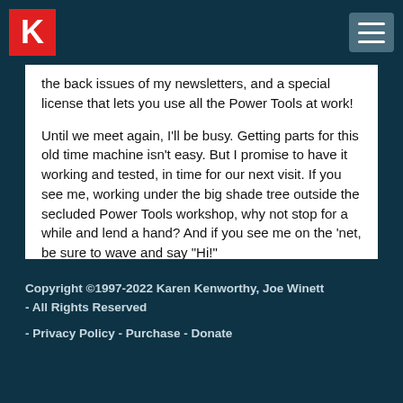K (logo) - navigation header
the back issues of my newsletters, and a special license that lets you use all the Power Tools at work!
Until we meet again, I'll be busy. Getting parts for this old time machine isn't easy. But I promise to have it working and tested, in time for our next visit. If you see me, working under the big shade tree outside the secluded Power Tools workshop, why not stop for a while and lend a hand? And if you see me on the 'net, be sure to wave and say "Hi!"
[Figure (illustration): Handwritten cursive signature reading 'Karen' in blue ink]
Copyright ©1997-2022 Karen Kenworthy, Joe Winett - All Rights Reserved
- Privacy Policy - Purchase - Donate